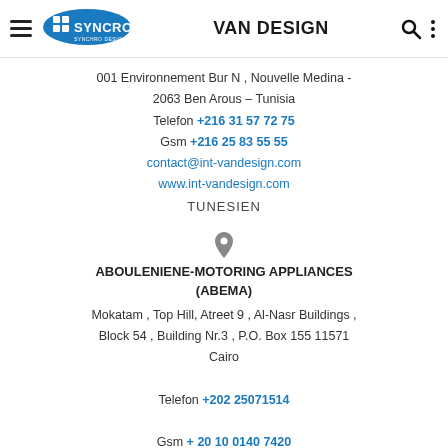SYNCRO | VAN DESIGN
001 Environnement Bur N , Nouvelle Medina - 2063 Ben Arous – Tunisia
Telefon +216 31 57 72 75
Gsm +216 25 83 55 55
contact@int-vandesign.com
www.int-vandesign.com
TUNESIEN
ABOULENIENE-MOTORING APPLIANCES (ABEMA)
Mokatam , Top Hill, Atreet 9 , Al-Nasr Buildings , Block 54 , Building Nr.3 , P.O. Box 155 11571
Cairo
Telefon +202 25071514
Gsm + 20 10 0140 7420